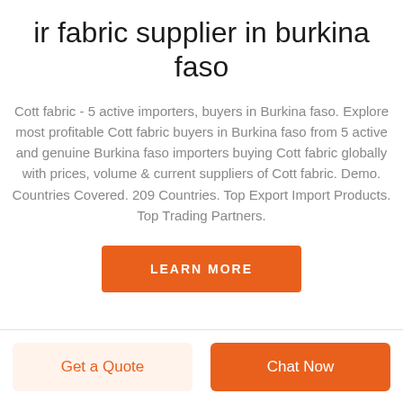ir fabric supplier in burkina faso
Cott fabric - 5 active importers, buyers in Burkina faso. Explore most profitable Cott fabric buyers in Burkina faso from 5 active and genuine Burkina faso importers buying Cott fabric globally with prices, volume & current suppliers of Cott fabric. Demo. Countries Covered. 209 Countries. Top Export Import Products. Top Trading Partners.
LEARN MORE
Get a Quote
Chat Now